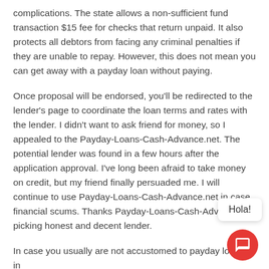complications. The state allows a non-sufficient fund transaction $15 fee for checks that return unpaid. It also protects all debtors from facing any criminal penalties if they are unable to repay. However, this does not mean you can get away with a payday loan without paying.
Once proposal will be endorsed, you'll be redirected to the lender's page to coordinate the loan terms and rates with the lender. I didn't want to ask friend for money, so I appealed to the Payday-Loans-Cash-Advance.net. The potential lender was found in a few hours after the application approval. I've long been afraid to take money on credit, but my friend finally persuaded me. I will continue to use Payday-Loans-Cash-Advance.net in case financial scums. Thanks Payday-Loans-Cash-Adv for picking honest and decent lender.
In case you usually are not accustomed to payday loans, in